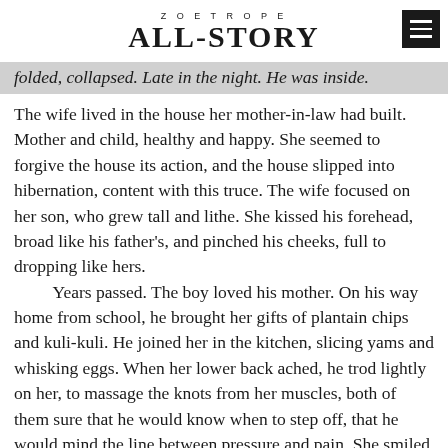ZOETROPE ALL-STORY
folded, collapsed. Late in the night. He was inside.
The wife lived in the house her mother-in-law had built. Mother and child, healthy and happy. She seemed to forgive the house its action, and the house slipped into hibernation, content with this truce. The wife focused on her son, who grew tall and lithe. She kissed his forehead, broad like his father's, and pinched his cheeks, full to dropping like hers.
	Years passed. The boy loved his mother. On his way home from school, he brought her gifts of plantain chips and kuli-kuli. He joined her in the kitchen, slicing yams and whisking eggs. When her lower back ached, he trod lightly on her, to massage the knots from her muscles, both of them sure that he would know when to step off, that he would mind the line between pressure and pain. She smiled at him, adjusting her depth of field so that he was her center,